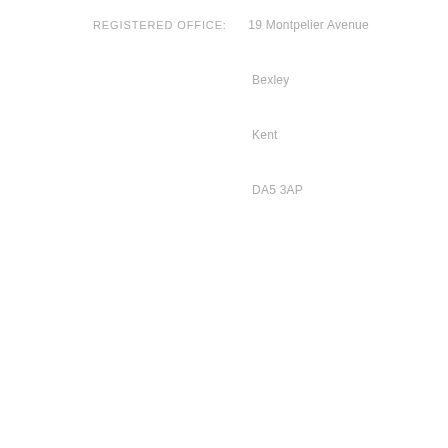REGISTERED OFFICE:        19 Montpelier Avenue
Bexley
Kent
DA5 3AP